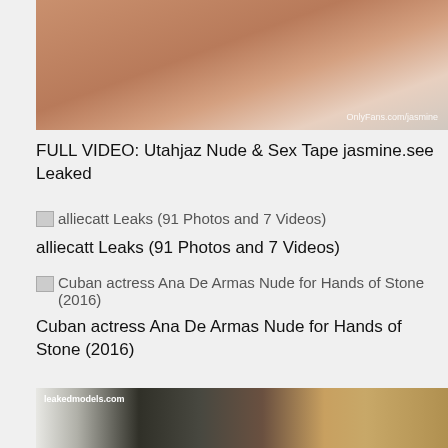[Figure (photo): Close-up photo with OnlyFans.com/jasmine watermark in lower right]
FULL VIDEO: Utahjaz Nude & Sex Tape jasmine.see Leaked
alliecatt Leaks (91 Photos and 7 Videos)
alliecatt Leaks (91 Photos and 7 Videos)
Cuban actress Ana De Armas Nude for Hands of Stone (2016)
Cuban actress Ana De Armas Nude for Hands of Stone (2016)
[Figure (photo): Photo with leakedmodels.com watermark, person taking mirror selfie]